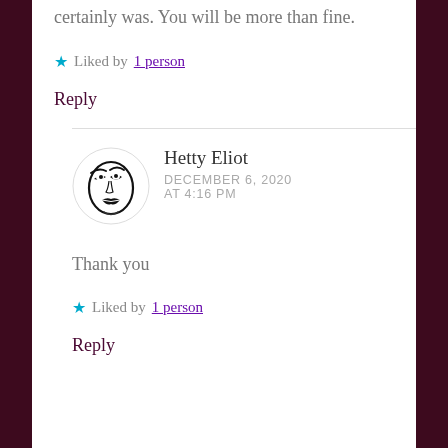certainly was. You will be more than fine.
★ Liked by 1 person
Reply
[Figure (illustration): Circular avatar image with a stylized black and white illustration of a face with dramatic eyes and lips]
Hetty Eliot
DECEMBER 6, 2020 AT 4:16 PM
Thank you
★ Liked by 1 person
Reply